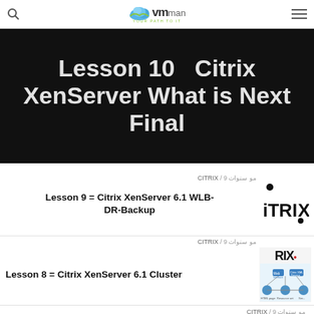VMman - Your Path to IT
[Figure (screenshot): Hero banner with dark background showing text: Lesson 10 Citrix XenServer What is Next Final]
CITRIX / 9 سنوات مو
Lesson 9 = Citrix XenServer 6.1 WLB-DR-Backup
[Figure (logo): Citrix iTRIX logo in black and white]
CITRIX / 9 سنوات مو
Lesson 8 = Citrix XenServer 6.1 Cluster
[Figure (screenshot): Citrix RIX logo with network diagram showing Web Interface, Citrix XML Service, HTML page, Resource set connections]
CITRIX / 9 سنوات مو
Lesson 7 : Citrix Virtual Machine
CITRIX / 9 سنوات مو